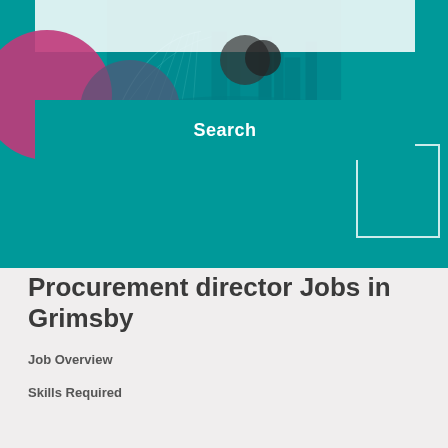[Figure (screenshot): Job search website hero banner with teal background overlay showing a city bridge/architecture, decorative circles in pink and gray, a white top bar, a teal search bar with 'Search' text, and a white outline rectangle in the lower right of the image.]
Procurement director Jobs in Grimsby
Job Overview
Skills Required